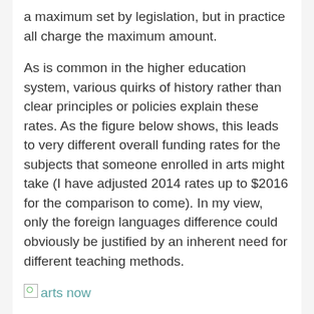a maximum set by legislation, but in practice all charge the maximum amount.
As is common in the higher education system, various quirks of history rather than clear principles or policies explain these rates. As the figure below shows, this leads to very different overall funding rates for the subjects that someone enrolled in arts might take (I have adjusted 2014 rates up to $2016 for the comparison to come). In my view, only the foreign languages difference could obviously be justified by an inherent need for different teaching methods.
[Figure (other): Broken image placeholder labeled 'arts now']
What the new Commonwealth contribution rates would do is bring the humanities and social science